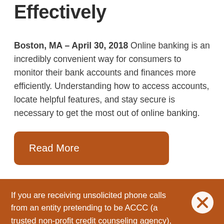Effectively
Boston, MA – April 30, 2018 Online banking is an incredibly convenient way for consumers to monitor their bank accounts and finances more efficiently. Understanding how to access accounts, locate helpful features, and stay secure is necessary to get the most out of online banking.
Read More
If you are receiving unsolicited phone calls from an entity pretending to be ACCC (a trusted non-profit credit counseling agency), please be assured that ACCC's policy is NEVER to contact you unless you've explicitly requested for us to call you.